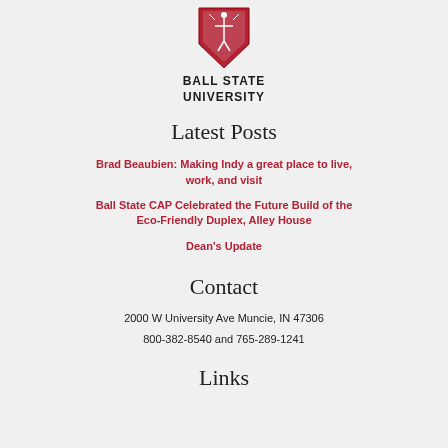[Figure (logo): Ball State University shield logo in red]
BALL STATE
UNIVERSITY
Latest Posts
Brad Beaubien: Making Indy a great place to live, work, and visit
Ball State CAP Celebrated the Future Build of the Eco-Friendly Duplex, Alley House
Dean's Update
Contact
2000 W University Ave Muncie, IN 47306
800-382-8540 and 765-289-1241
Links